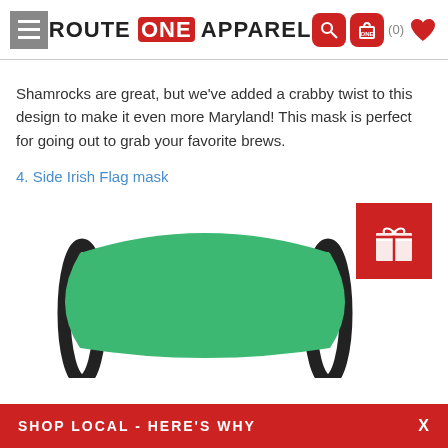ROUTE ONE APPAREL
Shamrocks are great, but we've added a crabby twist to this design to make it even more Maryland! This mask is perfect for going out to grab your favorite brews.
4. Side Irish Flag mask
[Figure (photo): Green face mask with black ear straps, partially visible from below]
SHOP LOCAL - HERE'S WHY   X